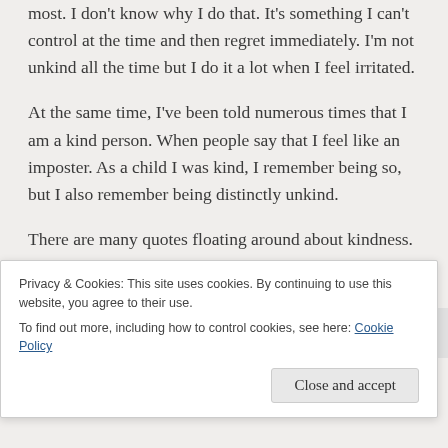most. I don't know why I do that. It's something I can't control at the time and then regret immediately. I'm not unkind all the time but I do it a lot when I feel irritated.
At the same time, I've been told numerous times that I am a kind person. When people say that I feel like an imposter. As a child I was kind, I remember being so, but I also remember being distinctly unkind.
There are many quotes floating around about kindness. The general consensus seems to be that it is an attribute people should strive towards. An action to be carried out without the need for a reward – suggesting a reward
Privacy & Cookies: This site uses cookies. By continuing to use this website, you agree to their use.
To find out more, including how to control cookies, see here: Cookie Policy
Close and accept